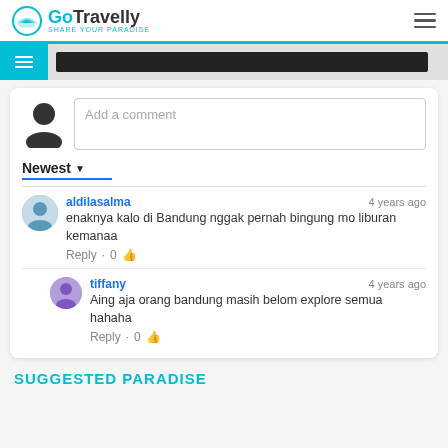GoTravelly SHARE YOUR PARADISE
Add a comment
Newest
aldilasalma · 4 years ago
enaknya kalo di Bandung nggak pernah bingung mo liburan kemanaa
Reply · 0
tiffany · 4 years ago
Aing aja orang bandung masih belom explore semua hahaha
Reply · 0
SUGGESTED PARADISE